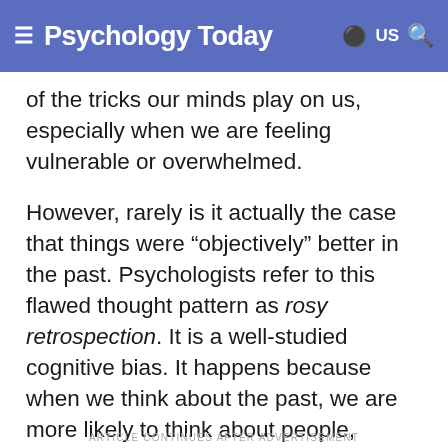Psychology Today
of the tricks our minds play on us, especially when we are feeling vulnerable or overwhelmed.
However, rarely is it actually the case that things were “objectively” better in the past. Psychologists refer to this flawed thought pattern as rosy retrospection. It is a well-studied cognitive bias. It happens because when we think about the past, we are more likely to think about people, events, places, and things in the abstract. And, when we think about things in the abstract, we are more likely to focus on positive generalities than the nitty-gritty and sometimes gory details.
ARTICLE CONTINUES AFTER ADVERTISEMENT